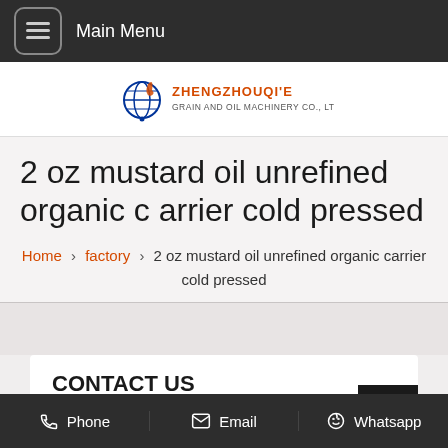Main Menu
[Figure (logo): ZHENGZHOUQI'E GRAIN AND OIL MACHINERY CO., LTD logo with globe and drop icon]
2 oz mustard oil unrefined organic carrier cold pressed
Home › factory › 2 oz mustard oil unrefined organic carrier cold pressed
CONTACT US
Phone   Email   Whatsapp